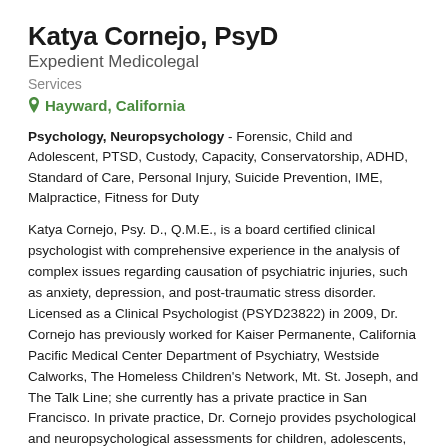Katya Cornejo, PsyD Expedient Medicolegal Services
Hayward, California
Psychology, Neuropsychology - Forensic, Child and Adolescent, PTSD, Custody, Capacity, Conservatorship, ADHD, Standard of Care, Personal Injury, Suicide Prevention, IME, Malpractice, Fitness for Duty
Katya Cornejo, Psy. D., Q.M.E., is a board certified clinical psychologist with comprehensive experience in the analysis of complex issues regarding causation of psychiatric injuries, such as anxiety, depression, and post-traumatic stress disorder. Licensed as a Clinical Psychologist (PSYD23822) in 2009, Dr. Cornejo has previously worked for Kaiser Permanente, California Pacific Medical Center Department of Psychiatry, Westside Calworks, The Homeless Children's Network, Mt. St. Joseph, and The Talk Line; she currently has a private practice in San Francisco. In private practice, Dr. Cornejo provides psychological and neuropsychological assessments for children, adolescents,